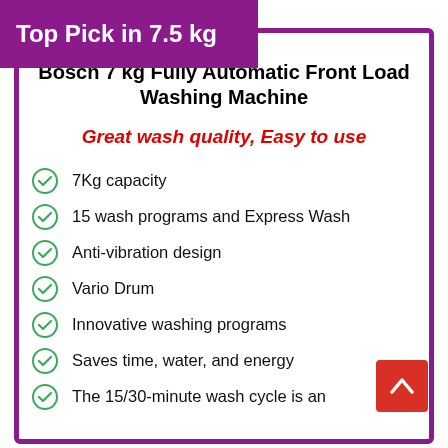Top Pick in 7.5 kg
Bosch 7 kg Fully Automatic Front Load Washing Machine
Great wash quality, Easy to use
7Kg capacity
15 wash programs and Express Wash
Anti-vibration design
Vario Drum
Innovative washing programs
Saves time, water, and energy
The 15/30-minute wash cycle is an